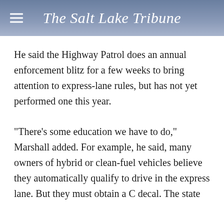The Salt Lake Tribune
He said the Highway Patrol does an annual enforcement blitz for a few weeks to bring attention to express-lane rules, but has not yet performed one this year.
"There's some education we have to do," Marshall added. For example, he said, many owners of hybrid or clean-fuel vehicles believe they automatically qualify to drive in the express lane. But they must obtain a C decal. The state